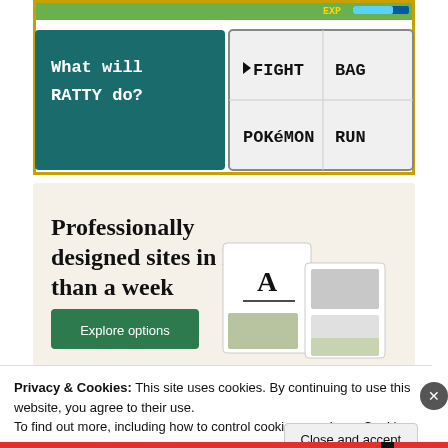[Figure (screenshot): Pokemon game battle screen showing 'What will RATTY do?' with options FIGHT, BAG, POKEMON, RUN]
[Figure (screenshot): Squarespace advertisement: 'Professionally designed sites in less than a week' with Explore options button and website mockup images]
Privacy & Cookies: This site uses cookies. By continuing to use this website, you agree to their use.
To find out more, including how to control cookies, see here: Cookie Policy
Close and accept